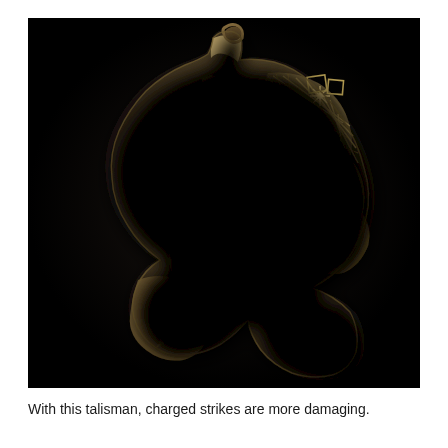[Figure (photo): A metallic silver-toned talisman or medallion pendant shaped like a grotesque creature or warrior face with intricate Celtic/Gothic knotwork engravings and geometric patterns. The figure has a beak-like protrusion, one visible eye socket, and decorative lattice work on the right side. The talisman has a hanging loop at the top and is photographed against a black background.]
With this talisman, charged strikes are more damaging.